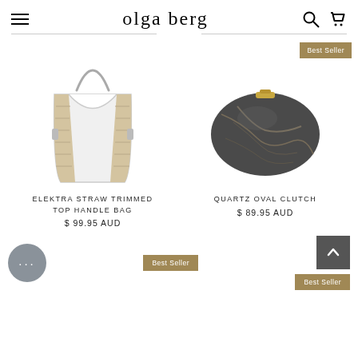olga berg
[Figure (photo): White structured top handle bag with woven straw sides and a metal top handle — Elektra Straw Trimmed Top Handle Bag]
ELEKTRA STRAW TRIMMED TOP HANDLE BAG
$ 99.95 AUD
[Figure (photo): Dark marble-effect oval clutch with gold clasp — Quartz Oval Clutch. Has a 'Best Seller' badge.]
QUARTZ OVAL CLUTCH
$ 89.95 AUD